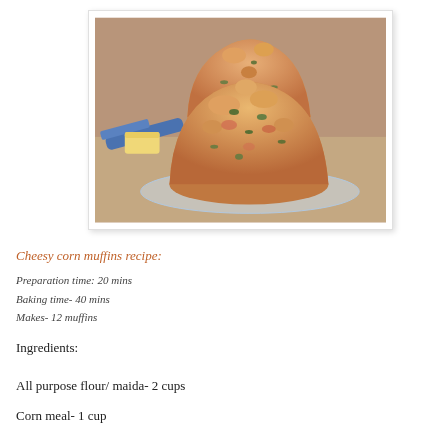[Figure (photo): Photo of cheesy corn muffins stacked on a glass plate with a blue knife and butter in the background]
Cheesy corn muffins recipe:
Preparation time: 20 mins
Baking time- 40 mins
Makes- 12 muffins
Ingredients:
All purpose flour/ maida- 2 cups
Corn meal- 1 cup